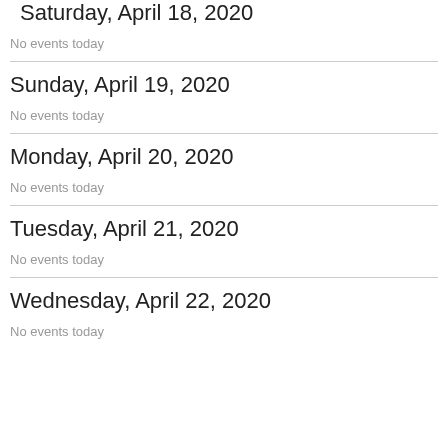Saturday, April 18, 2020
No events today
Sunday, April 19, 2020
No events today
Monday, April 20, 2020
No events today
Tuesday, April 21, 2020
No events today
Wednesday, April 22, 2020
No events today